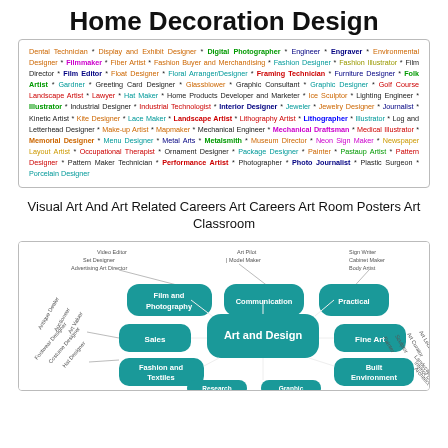Home Decoration Design
Dental Technician * Display and Exhibit Designer * Digital Photographer * Engineer * Engraver * Environmental Designer * Filmmaker * Fiber Artist * Fashion Buyer and Merchandising * Fashion Designer * Fashion Illustrator * Film Director * Film Editor * Float Designer * Floral Arranger/Designer * Framing Technician * Furniture Designer * Folk Artist * Gardner * Greeting Card Designer * Glassblower * Graphic Consultant * Graphic Designer * Golf Course Landscape Artist * Lawyer * Hat Maker * Home Products Developer and Marketer * Ice Sculptor * Lighting Engineer * Illustrator * Industrial Designer * Industrial Technologist * Interior Designer * Jeweler * Jewelry Designer * Journalist * Kinetic Artist * Kite Designer * Lace Maker * Landscape Artist * Lithography Artist * Lithographer * Illustrator * Log and Letterhead Designer * Make-up Artist * Mapmaker * Mechanical Engineer * Mechanical Draftsman * Medical Illustrator * Memorial Designer * Menu Designer * Metal Arts * Metalsmith * Museum Director * Neon Sign Maker * Newspaper Layout Artist * Occupational Therapist * Ornament Designer * Package Designer * Painter * Pastaup Artist * Pattern Designer * Pattern Maker Technician * Performance Artist * Photographer * Photo Journalist * Plastic Surgeon * Porcelain Designer
Visual Art And Art Related Careers Art Careers Art Room Posters Art Classroom
[Figure (infographic): Art and Design career cluster diagram with central bubble 'Art and Design' surrounded by categories: Film and Photography, Communication, Practical, Sales, Fine Art, Fashion and Textiles, Built Environment, and more. Includes surrounding job titles listed around the outside.]